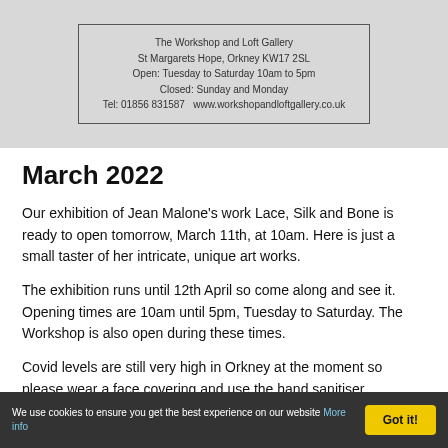[Figure (other): Gallery information box with border showing address and opening hours for The Workshop and Loft Gallery]
March 2022
Our exhibition of Jean Malone's work Lace, Silk and Bone is ready to open tomorrow, March 11th, at 10am. Here is just a small taster of her intricate, unique art works.
The exhibition runs until 12th April so come along and see it. Opening times are 10am until 5pm, Tuesday to Saturday. The Workshop is also open during these times.
Covid levels are still very high in Orkney at the moment so please wear a face covering and use the hand sanitiser
We use cookies to ensure you get the best experience on our website More info